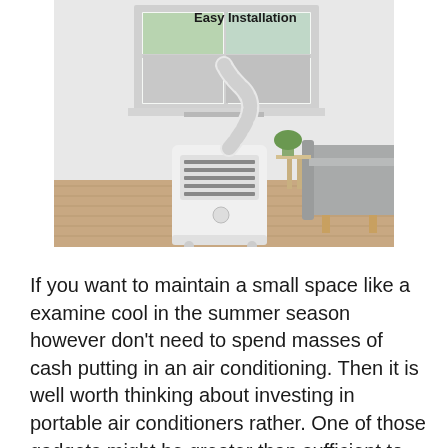[Figure (photo): Photo of a white portable air conditioner unit connected to a white exhaust hose routed through a window. The unit is on a wooden floor in a modern room with a gray sofa and small plant visible. Text 'Easy Installation' appears in bold at the top of the image.]
If you want to maintain a small space like a examine cool in the summer season however don't need to spend masses of cash putting in an air conditioning. Then it is well worth thinking about investing in portable air conditioners rather. One of those gadgets might be greater than sufficient to reduce